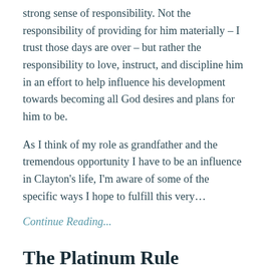strong sense of responsibility. Not the responsibility of providing for him materially – I trust those days are over – but rather the responsibility to love, instruct, and discipline him in an effort to help influence his development towards becoming all God desires and plans for him to be.
As I think of my role as grandfather and the tremendous opportunity I have to be an influence in Clayton's life, I'm aware of some of the specific ways I hope to fulfill this very…
Continue Reading...
The Platinum Rule